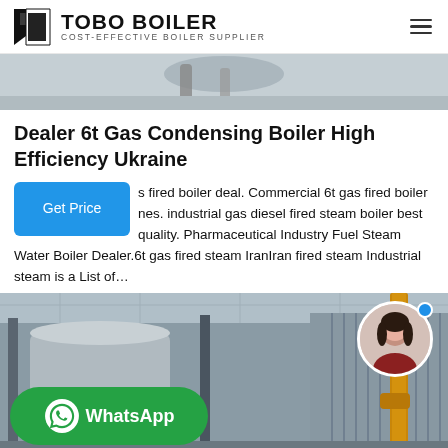TOBO BOILER — COST-EFFECTIVE BOILER SUPPLIER
[Figure (photo): Partial view of industrial boiler equipment, top crop]
Dealer 6t Gas Condensing Boiler High Efficiency Ukraine
s fired boiler deal. Commercial 6t gas fired boiler nes. industrial gas diesel fired steam boiler best quality. Pharmaceutical Industry Fuel Steam Water Boiler Dealer.6t gas fired steam IranIran fired steam Industrial steam is a List of…
[Figure (photo): Industrial gas fired steam boiler in a factory setting with yellow pipes and corrugated metal wall, with a WhatsApp contact button overlay and a customer service avatar]